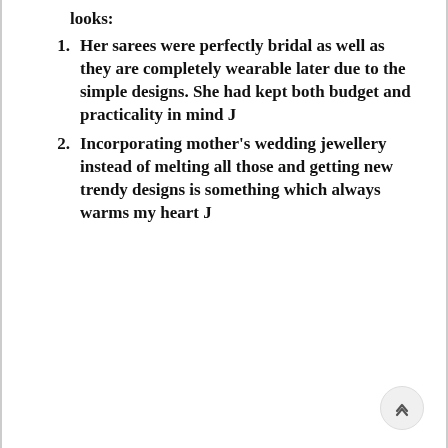looks:
Her sarees were perfectly bridal as well as they are completely wearable later due to the simple designs. She had kept both budget and practicality in mind J
Incorporating mother's wedding jewellery instead of melting all those and getting new trendy designs is something which always warms my heart J